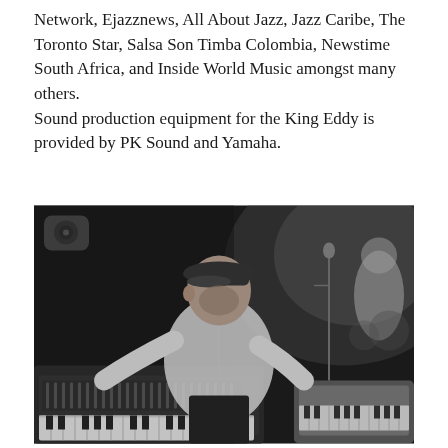Network, Ejazznews, All About Jazz, Jazz Caribe, The Toronto Star, Salsa Son Timba Colombia, Newstime South Africa, and Inside World Music amongst many others.
Sound production equipment for the King Eddy is provided by PK Sound and Yamaha.
[Figure (photo): Black and white photograph of a musician wearing a flat cap and white short-sleeve shirt, leaning over two keyboards/synthesizers on stage, playing. A drummer is partially visible in the background on the right, and a microphone stand and lighting equipment are visible.]